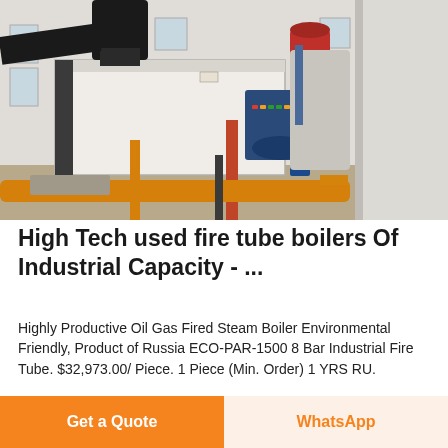[Figure (photo): Industrial fire tube boiler in a factory setting. A large white rectangular boiler unit with dark exhaust duct overhead, a red cylindrical tank, a blue motor/burner assembly, support structures, and orange/yellow piping on the floor. Bright industrial space with windows and white pillars.]
High Tech used fire tube boilers Of Industrial Capacity - ...
Highly Productive Oil Gas Fired Steam Boiler Environmental Friendly, Product of Russia ECO-PAR-1500 8 Bar Industrial Fire Tube. $32,973.00/ Piece. 1 Piece (Min. Order) 1 YRS RU.
Get a Quote
WhatsApp